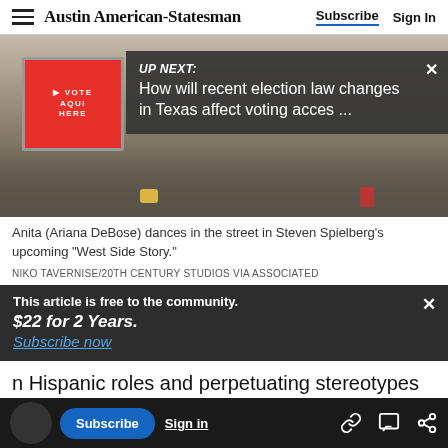Austin American-Statesman  Subscribe  Sign In
[Figure (photo): Photo of people dancing in the street with a red 'VOTE AQUI HERE' sign visible on the left. An overlay reads 'UP NEXT: How will recent election law changes in Texas affect voting acces ...']
Anita (Ariana DeBose) dances in the street in Steven Spielberg's upcoming "West Side Story."
NIKO TAVERNISE/20TH CENTURY STUDIOS VIA ASSOCIATED
This article is free to the community.
$22 for 2 Years.
Subscribe now
n Hispanic roles and perpetuating stereotypes
corrected all that stuff,  Moreno says. In the
Subscribe  Sign in